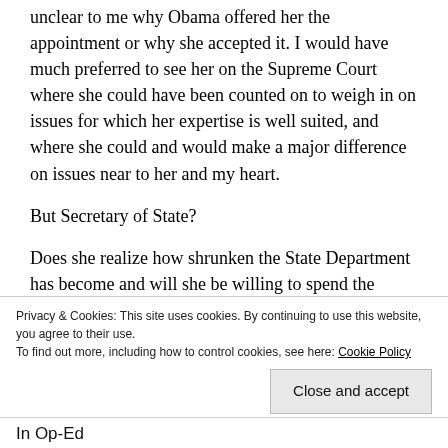unclear to me why Obama offered her the appointment or why she accepted it. I would have much preferred to see her on the Supreme Court where she could have been counted on to weigh in on issues for which her expertise is well suited, and where she could and would make a major difference on issues near to her and my heart.
But Secretary of State?
Does she realize how shrunken the State Department has become and will she be willing to spend the capital to turn the situation around? Does she understand how demoralized its professional staff is?
Privacy & Cookies: This site uses cookies. By continuing to use this website, you agree to their use. To find out more, including how to control cookies, see here: Cookie Policy
Close and accept
In Op-Ed